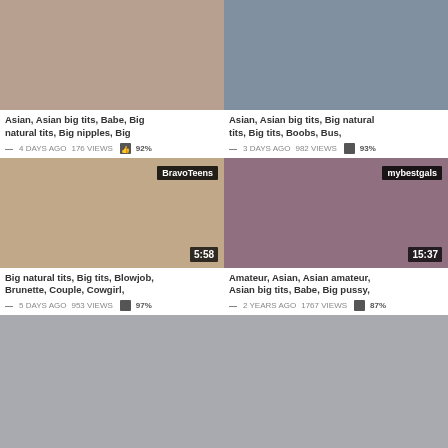[Figure (screenshot): Video thumbnail top-left with partial tags visible: Asian, Asian big tits, Babe, Big natural tits, Big nipples, Big]
Asian, Asian big tits, Babe, Big natural tits, Big nipples, Big
— 4 DAYS AGO  176 VIEWS  👍 92%
[Figure (screenshot): Video thumbnail top-right with partial tags visible: Asian, Asian big tits, Big natural tits, Big tits, Boobs, Bus,]
Asian, Asian big tits, Big natural tits, Big tits, Boobs, Bus,
— 3 DAYS AGO  982 VIEWS  👍 93%
[Figure (screenshot): Video thumbnail bottom-left with badge BravoTeens, duration 5:58, tags: Big natural tits, Big tits, Blowjob, Brunette, Couple, Cowgirl,]
Big natural tits, Big tits, Blowjob, Brunette, Couple, Cowgirl,
— 5 DAYS AGO  953 VIEWS  👍 97%
[Figure (screenshot): Video thumbnail bottom-right with badge mybestgals, duration 15:37, tags: Amateur, Asian, Asian amateur, Asian big tits, Babe, Big pussy,]
Amateur, Asian, Asian amateur, Asian big tits, Babe, Big pussy,
— 2 YEARS AGO  1767 VIEWS  👍 87%